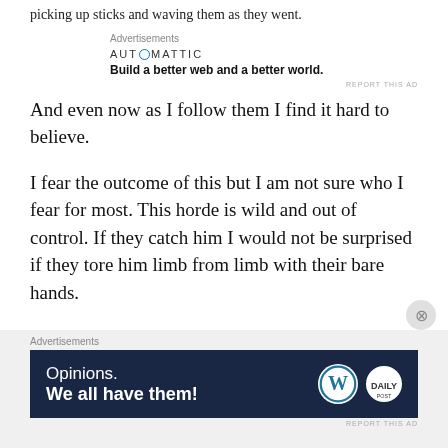picking up sticks and waving them as they went.
[Figure (other): Automattic advertisement: 'Build a better web and a better world.']
And even now as I follow them I find it hard to believe.
I fear the outcome of this but I am not sure who I fear for most. This horde is wild and out of control. If they catch him I would not be surprised if they tore him limb from limb with their bare hands.
But I have felt the power of the Green Wizard.
[Figure (other): WordPress advertisement banner: 'Opinions. We all have them!' with WordPress and Daily Post logos.]